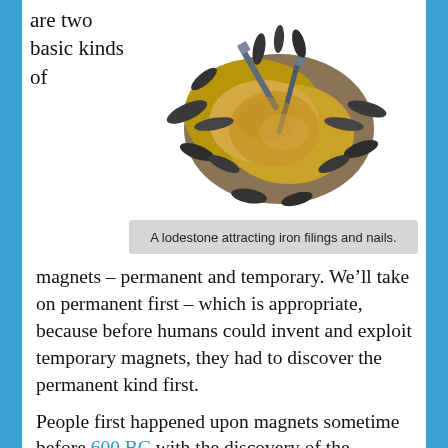are two basic kinds of
[Figure (photo): A lodestone (golden-brown rock) attracting iron filings and nails, shown with dark spiky filings clinging to the surface and two metal nails resting on top.]
A lodestone attracting iron filings and nails.
magnets – permanent and temporary. We’ll take on permanent first – which is appropriate, because before humans could invent and exploit temporary magnets, they had to discover the permanent kind first.

People first happened upon magnets sometime before 600 BC with the discovery of the mineral magnetite, a naturally occurring